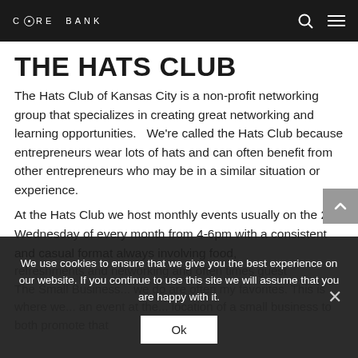CORE BANK
THE HATS CLUB
The Hats Club of Kansas City is a non-profit networking group that specializes in creating great networking and learning opportunities.   We're called the Hats Club because entrepreneurs wear lots of hats and can often benefit from other entrepreneurs who may be in a similar situation or experience.
At the Hats Club we host monthly events usually on the 2nd Wednesday of every month from 4-6pm with a consistent and casual format always involving food,
refreshments and networking and often times guest
The Small Business... we do are often my favorites. This is where we... an event at the... location of a small business to both promote that
We use cookies to ensure that we give you the best experience on our website. If you continue to use this site we will assume that you are happy with it.